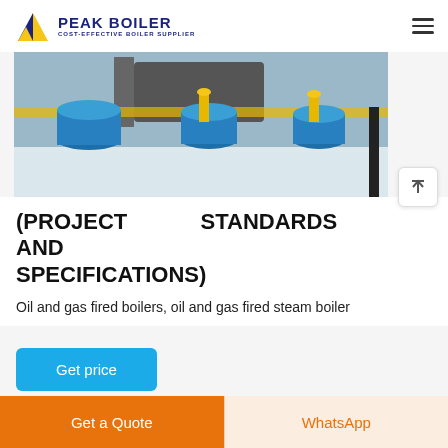PEAK BOILER COST-EFFECTIVE BOILER SUPPLIER
[Figure (photo): Industrial boiler room showing large blue cylindrical boiler units with yellow pipe fittings and connecting pipework on a light-colored floor.]
(PROJECT STANDARDS AND SPECIFICATIONS)
Oil and gas fired boilers, oil and gas fired steam boiler
Get price
Get a Quote
WhatsApp